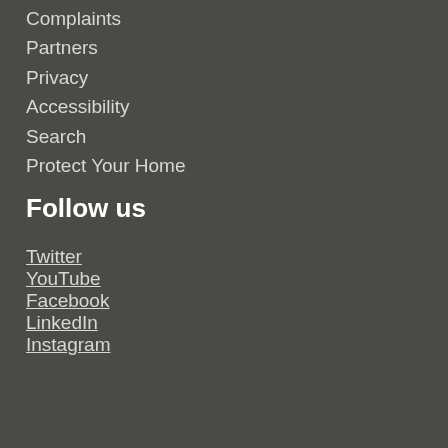Complaints
Partners
Privacy
Accessibility
Search
Protect Your Home
Follow us
Twitter
YouTube
Facebook
LinkedIn
Instagram